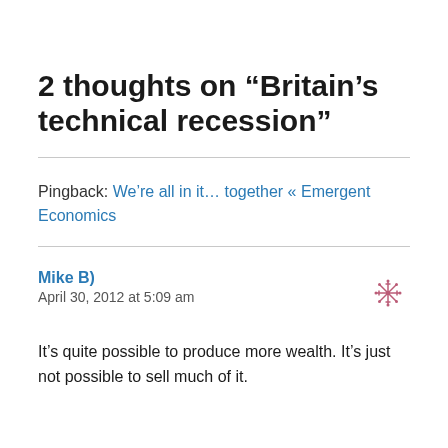2 thoughts on “Britain’s technical recession”
Pingback: We’re all in it… together « Emergent Economics
Mike B)
April 30, 2012 at 5:09 am
It’s quite possible to produce more wealth. It’s just not possible to sell much of it.